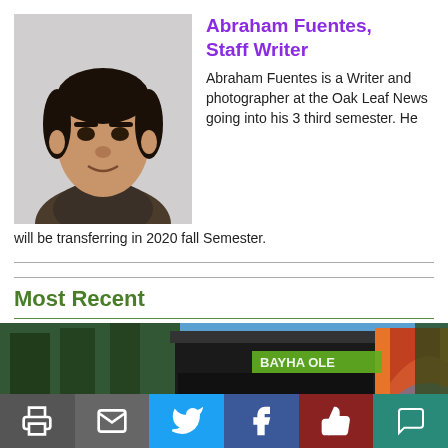[Figure (photo): Headshot photo of Abraham Fuentes, a young Hispanic man wearing a dark jacket, against a light grey background.]
Abraham Fuentes, Staff Writer
Abraham Fuentes is a Writer and photographer at the Oak Leaf News going into his 3 third semester. He will be transferring in 2020 fall Semester.
Most Recent
[Figure (photo): Outdoor photo of a concert stage with colorful murals/artwork on the panels, surrounded by tall trees under a blue sky.]